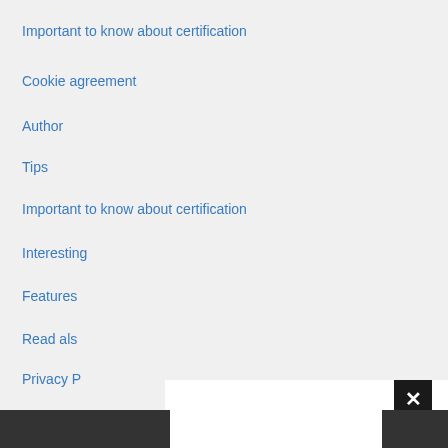Important to know about certification
Cookie agreement
Author
Tips
Important to know about certification
Interesting
Features
Read als
Privacy P